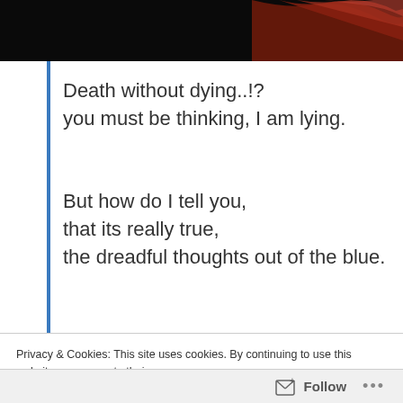[Figure (photo): Dark header image with black background and red swoosh/flame pattern in the upper right corner]
Death without dying..!?
you must be thinking, I am lying.

But how do I tell you,
that its really true,
the dreadful thoughts out of the blue.
Privacy & Cookies: This site uses cookies. By continuing to use this website, you agree to their use.
To find out more, including how to control cookies, see here: Cookie Policy
Close and accept
Follow ...